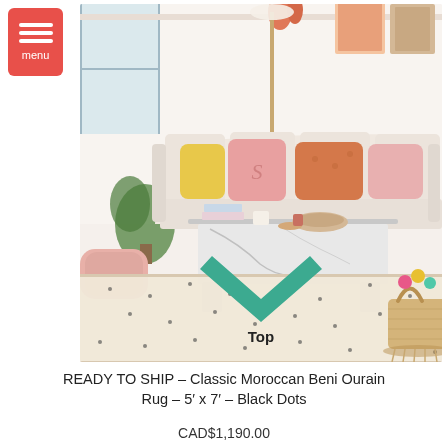[Figure (photo): Living room scene featuring a cream/white fluffy Beni Ourain rug with black dot pattern on the floor. A cream sectional sofa with pink, yellow, and orange pillows sits behind a marble coffee table. A decorative woven basket with colorful pom-poms is on the right. A teal upward-pointing chevron arrow with the label 'Top' is overlaid on the lower portion of the image.]
READY TO SHIP – Classic Moroccan Beni Ourain Rug – 5' x 7' – Black Dots
CAD$1,190.00